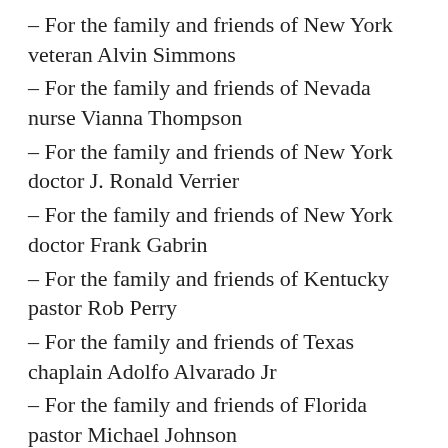– For the family and friends of New York veteran Alvin Simmons
– For the family and friends of Nevada nurse Vianna Thompson
– For the family and friends of New York doctor J. Ronald Verrier
– For the family and friends of New York doctor Frank Gabrin
– For the family and friends of Kentucky pastor Rob Perry
– For the family and friends of Texas chaplain Adolfo Alvarado Jr
– For the family and friends of Florida pastor Michael Johnson